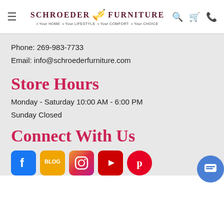Schroeder Furniture — Your HOME · Your LIFESTYLE · Your COMFORT · Your CHOICE
Phone: 269-983-7733
Email: info@schroederfurniture.com
Store Hours
Monday - Saturday 10:00 AM - 6:00 PM
Sunday Closed
Connect With Us
[Figure (infographic): Social media icons: Facebook, Blog, Instagram, YouTube, Pinterest]